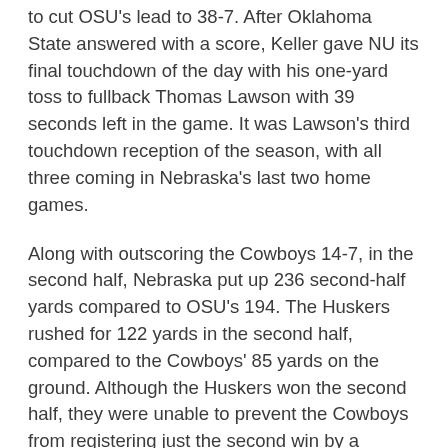to cut OSU's lead to 38-7. After Oklahoma State answered with a score, Keller gave NU its final touchdown of the day with his one-yard toss to fullback Thomas Lawson with 39 seconds left in the game. It was Lawson's third touchdown reception of the season, with all three coming in Nebraska's last two home games.
Along with outscoring the Cowboys 14-7, in the second half, Nebraska put up 236 second-half yards compared to OSU's 194. The Huskers rushed for 122 yards in the second half, compared to the Cowboys' 85 yards on the ground. Although the Huskers won the second half, they were unable to prevent the Cowboys from registering just the second win by a visiting team on Homecoming at Memorial Stadium in the past 39 years.
Oklahoma State controlled the first half, scoring on its first six possessions - including five touchdowns - en route to a 38-0 halftime lead, the most first-half points surrendered at home in school history. The Cowboys rolled up 357 yards of offense - 232 on the ground and 125 through the air, while averaging more than eight yards per play. The OSU defense